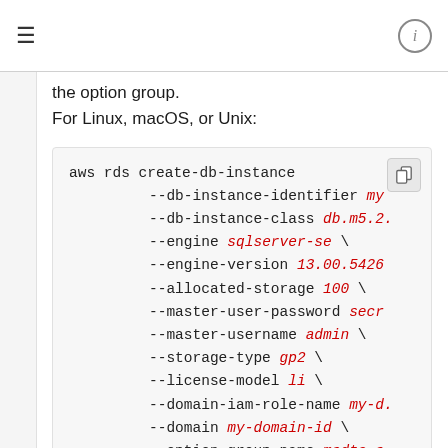≡  ⓘ
the option group.
For Linux, macOS, or Unix:
[Figure (screenshot): Code block showing AWS CLI command: aws rds create-db-instance with parameters --db-instance-identifier, --db-instance-class db.m5.2..., --engine sqlserver-se \, --engine-version 13.00.5426..., --allocated-storage 100 \, --master-user-password secr..., --master-username admin \, --storage-type gp2 \, --license-model li \, --domain-iam-role-name my-d..., --domain my-domain-id \, --option-group-name msdtc-s..., --db-parameter-group-name m...]